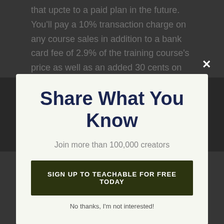that upcte to a paid plan in the future. You'll pay a 10% transaction charge on any course sales in addition to a bank card fee of 2.9% of the training course's price as well as an added 30 cents on top
[Figure (screenshot): Modal popup with close X button, title 'Share What You Know', subtitle 'Join more than 100,000 creators', dark olive green CTA button 'SIGN UP TO TEACHABLE FOR FREE TODAY', and 'No thanks, I'm not interested!' link]
addition to 5% deducted that also charge card handling cost of 2.9% of the overall course price (and also processing costs of 30 cents, once